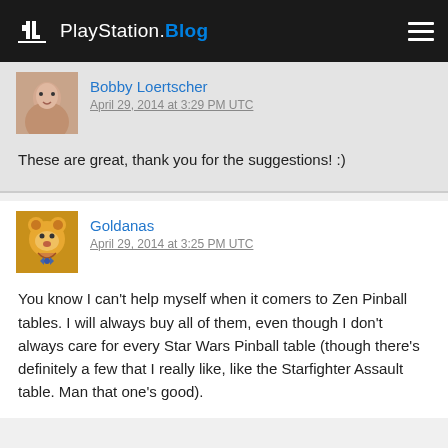PlayStation.Blog
Bobby Loertscher
April 29, 2014 at 3:29 PM UTC
These are great, thank you for the suggestions! :)
Goldanas
April 29, 2014 at 3:25 PM UTC
You know I can't help myself when it comers to Zen Pinball tables. I will always buy all of them, even though I don't always care for every Star Wars Pinball table (though there's definitely a few that I really like, like the Starfighter Assault table. Man that one's good).